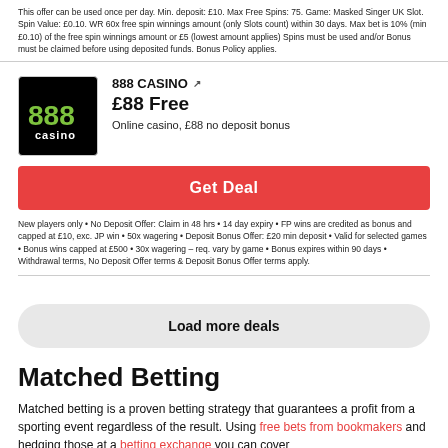This offer can be used once per day. Min. deposit: £10. Max Free Spins: 75. Game: Masked Singer UK Slot. Spin Value: £0.10. WR 60x free spin winnings amount (only Slots count) within 30 days. Max bet is 10% (min £0.10) of the free spin winnings amount or £5 (lowest amount applies) Spins must be used and/or Bonus must be claimed before using deposited funds. Bonus Policy applies.
[Figure (logo): 888 Casino logo — black background with green 888 and white casino text]
888 CASINO
£88 Free
Online casino, £88 no deposit bonus
Get Deal
New players only • No Deposit Offer: Claim in 48 hrs • 14 day expiry • FP wins are credited as bonus and capped at £10, exc. JP win • 50x wagering • Deposit Bonus Offer: £20 min deposit • Valid for selected games • Bonus wins capped at £500 • 30x wagering – req. vary by game • Bonus expires within 90 days • Withdrawal terms, No Deposit Offer terms & Deposit Bonus Offer terms apply.
Load more deals
Matched Betting
Matched betting is a proven betting strategy that guarantees a profit from a sporting event regardless of the result. Using free bets from bookmakers and hedging those at a betting exchange you can cover